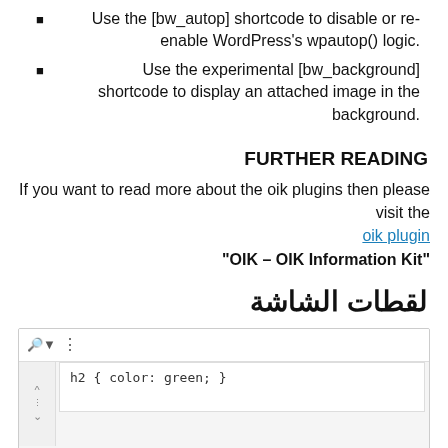Use the [bw_autop] shortcode to disable or re-enable WordPress's wpautop() logic
Use the experimental [bw_background] shortcode to display an attached image in the background.
FURTHER READING
If you want to read more about the oik plugins then please visit the oik plugin "OIK – OIK Information Kit"
لقطات الشاشة
[Figure (screenshot): Screenshot showing a CSS block editor with code: h2 { color: green; } and caption 'CSS block example']